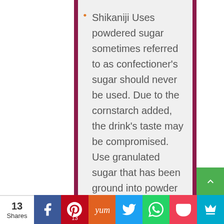Shikaniji Uses powdered sugar sometimes referred to as confectioner's sugar should never be used. Due to the cornstarch added, the drink's taste may be compromised. Use granulated sugar that has been ground into powder in a blender (or grinder). It should be stored in a dry cool place. Up to 1 month can be used.
13 Shares | Facebook | Pinterest 13 | Yum | Twitter | WhatsApp | Pocket | Crown